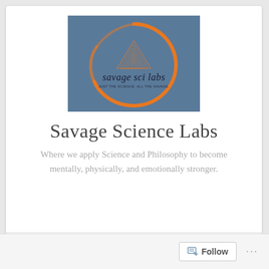[Figure (logo): Savage Science Labs logo: blue-grey background with an orange brushstroke circle, a nested triangle graphic in the center, italic text 'savage sci labs' below the triangle, and smaller tagline text underneath.]
Savage Science Labs
Where we apply Science and Philosophy to become mentally, physically, and emotionally stronger.
Follow ...